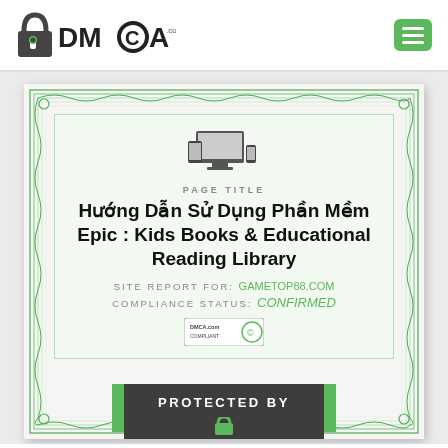[Figure (logo): DMCA.com logo with padlock icon and green hamburger menu button]
[Figure (illustration): DMCA certificate with guilloche green border pattern, device icon, PAGE TITLE label, Vietnamese page title, site report for gametop88.com, Compliance Status Confirmed, DMCA compliant badge, and Protected By banner at bottom]